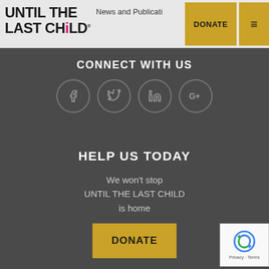[Figure (logo): Until The Last Child logo - bold text with pink 'i' in Child]
News and Publicati...
DONATE
CONNECT WITH US
[Figure (infographic): Four social media icons in grey circles: Facebook, Twitter, LinkedIn, Google+]
HELP US TODAY
We won't stop UNTIL THE LAST CHILD is home
DONATE
[Figure (other): reCAPTCHA badge with Privacy and Terms links]